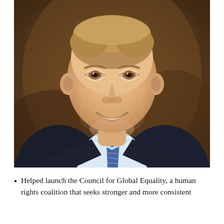[Figure (photo): Professional headshot of a smiling middle-aged man with short light brown hair and stubble beard, wearing a dark suit jacket, light blue shirt, and a blue/silver striped tie. Brown background.]
Helped launch the Council for Global Equality, a human rights coalition that seeks stronger and more consistent